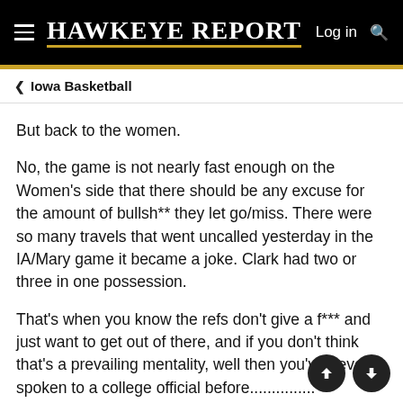Hawkeye Report
Iowa Basketball
But back to the women.
No, the game is not nearly fast enough on the Women's side that there should be any excuse for the amount of bullsh** they let go/miss. There were so many travels that went uncalled yesterday in the IA/Mary game it became a joke. Clark had two or three in one possession.
That's when you know the refs don't give a f*** and just want to get out of there, and if you don't think that's a prevailing mentality, well then you've never spoken to a college official before...............
Women's officiating is embarrassing across the board and...